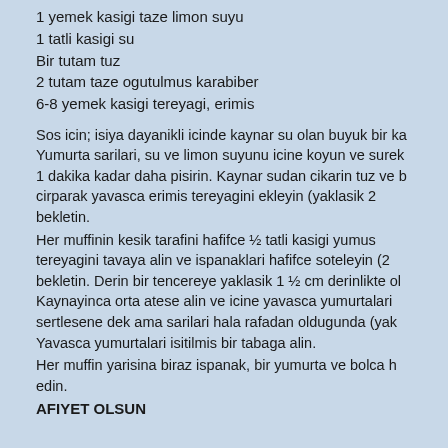1 yemek kasigi taze limon suyu
1 tatli kasigi su
Bir tutam tuz
2 tutam taze ogutulmus karabiber
6-8 yemek kasigi tereyagi, erimis
Sos icin; isiya dayanikli icinde kaynar su olan buyuk bir ka... Yumurta sarilari, su ve limon suyunu icine koyun ve surek... 1 dakika kadar daha pisirin. Kaynar sudan cikarin tuz ve... cirparak yavasca erimis tereyagini ekleyin (yaklasik 2... bekletin.
Her muffinin kesik tarafini hafifce ½ tatli kasigi yumus... tereyagini tavaya alin ve ispanaklari hafifce soteleyin (2... bekletin. Derin bir tencereye yaklasik 1 ½ cm derinlikte o... Kaynayinca orta atese alin ve icine yavasca yumurtalari... sertlesene dek ama sarilari hala rafadan oldugunda (yak... Yavasca yumurtalari isitilmis bir tabaga alin.
Her muffin yarisina biraz ispanak, bir yumurta ve bolca h... edin.
AFIYET OLSUN